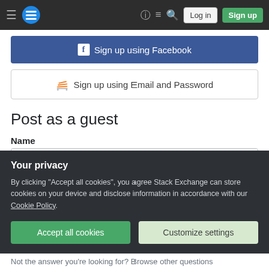Stack Exchange navigation bar with hamburger menu, logo, help, inbox, search icons, Log in and Sign up buttons
[Figure (screenshot): Sign up using Facebook button (blue)]
[Figure (screenshot): Sign up using Email and Password button (white with border)]
Post as a guest
Name
[Figure (screenshot): Name text input field (empty)]
Email
Required, but never shown
[Figure (screenshot): Email text input field (empty, partially visible)]
Your privacy
By clicking "Accept all cookies", you agree Stack Exchange can store cookies on your device and disclose information in accordance with our Cookie Policy.
[Figure (screenshot): Accept all cookies button (green) and Customize settings button (light green)]
Not the answer you're looking for? Browse other questions